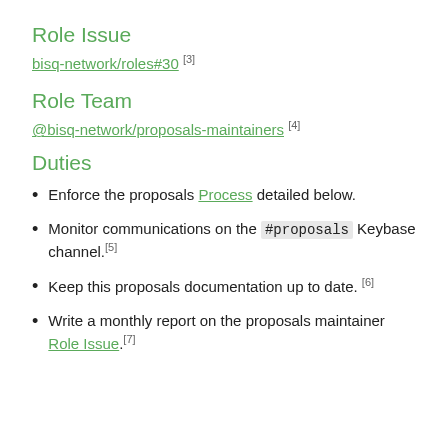Role Issue
bisq-network/roles#30 [3]
Role Team
@bisq-network/proposals-maintainers [4]
Duties
Enforce the proposals Process detailed below.
Monitor communications on the #proposals Keybase channel.[5]
Keep this proposals documentation up to date. [6]
Write a monthly report on the proposals maintainer Role Issue.[7]